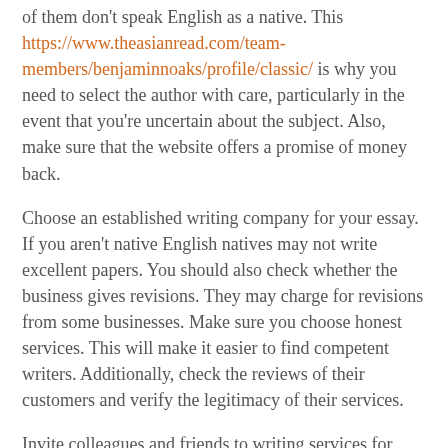of them don't speak English as a native. This https://www.theasianread.com/team-members/benjaminnoaks/profile/classic/ is why you need to select the author with care, particularly in the event that you're uncertain about the subject. Also, make sure that the website offers a promise of money back.
Choose an established writing company for your essay. If you aren't native English natives may not write excellent papers. You should also check whether the business gives revisions. They may charge for revisions from some businesses. Make sure you choose honest services. This will make it easier to find competent writers. Additionally, check the reviews of their customers and verify the legitimacy of their services.
Invite colleagues and friends to writing services for paper which are trustworthy. They may have experienced their work through somebody they have known and liked. Furthermore, they can look up reviews online to find out what people's opinions are about a particular service. Good companies are known to have plenty of comments. If they don't, continue looking until you discover a trustworthy